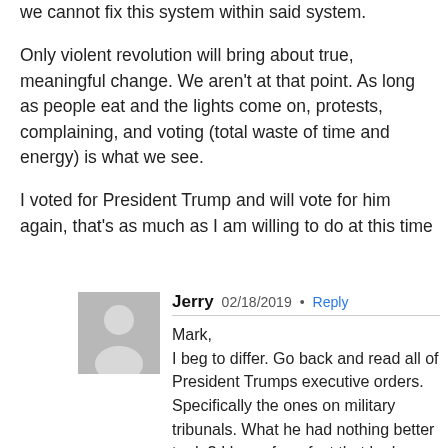we cannot fix this system within said system.

Only violent revolution will bring about true, meaningful change. We aren't at that point. As long as people eat and the lights come on, protests, complaining, and voting (total waste of time and energy) is what we see.

I voted for President Trump and will vote for him again, that's as much as I am willing to do at this time
Jerry  02/18/2019  •  Reply

Mark,
I beg to differ. Go back and read all of President Trumps executive orders. Specifically the ones on military tribunals. What he had nothing better to do? I know for a fact that he has detachments of Marines with him 24/7. He knows who he's dealing with and has a plan. But unfortunately most Americans think they are